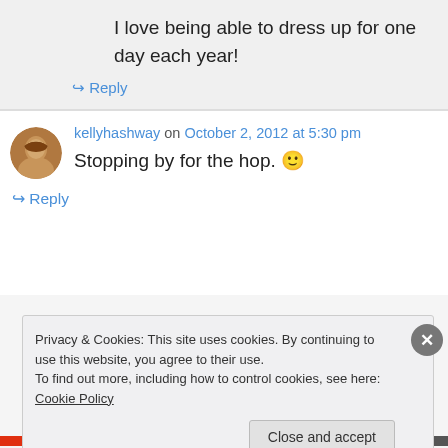I love being able to dress up for one day each year!
↪ Reply
kellyhashway on October 2, 2012 at 5:30 pm
Stopping by for the hop. 🙂
↪ Reply
Privacy & Cookies: This site uses cookies. By continuing to use this website, you agree to their use.
To find out more, including how to control cookies, see here: Cookie Policy
Close and accept